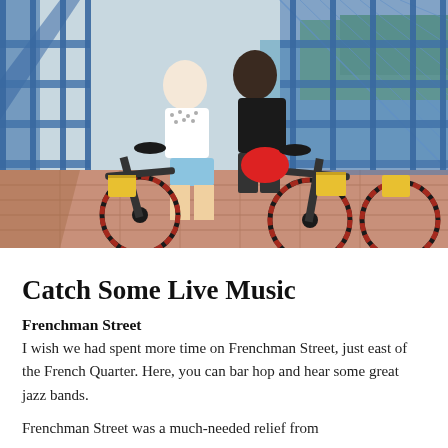[Figure (photo): Two people standing with bicycles on a bridge with blue metal railings. The bikes have red-rimmed wheels and yellow baskets. One person wears a red helmet. A river and trees are visible in the background.]
Catch Some Live Music
Frenchman Street
I wish we had spent more time on Frenchman Street, just east of the French Quarter. Here, you can bar hop and hear some great jazz bands.
Frenchman Street was a much-needed relief from